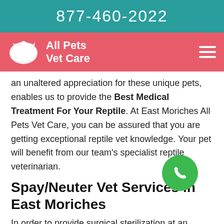877-460-2022
[Figure (logo): All Pets Vet Care logo with white silhouette of pets and text 'All Pets Vet Care' on pink/salmon navigation bar]
an unaltered appreciation for these unique pets, enables us to provide the Best Medical Treatment For Your Reptile. At East Moriches All Pets Vet Care, you can be assured that you are getting exceptional reptile vet knowledge. Your pet will benefit from our team's specialist reptile veterinarian.
Spay/Neuter Vet Services in East Moriches
In order to provide surgical sterilization at an extremely Low Cost, Spay And Neuter Clinics have to regulate the cost of the process. You can obtain the services East Moriches All Pets Vet Care has to provide for your pets at